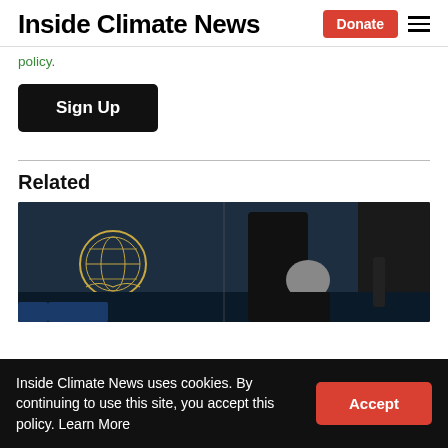Inside Climate News
policy.
Sign Up
Related
[Figure (photo): A person in a dark suit bends over at a dark marble desk with a United Nations emblem visible on the left; another figure stands behind in a dark suit.]
Inside Climate News uses cookies. By continuing to use this site, you accept this policy. Learn More